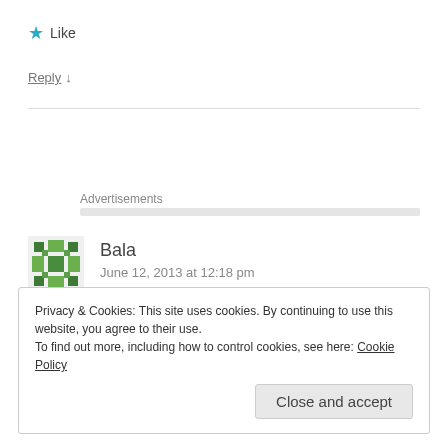★ Like
Reply ↓
Advertisements
Bala
June 12, 2013 at 12:18 pm
Privacy & Cookies: This site uses cookies. By continuing to use this website, you agree to their use.
To find out more, including how to control cookies, see here: Cookie Policy
Close and accept